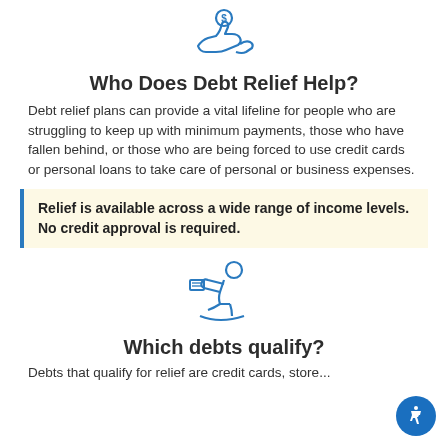[Figure (illustration): Blue line-art icon of two hands exchanging money (debt relief handshake icon)]
Who Does Debt Relief Help?
Debt relief plans can provide a vital lifeline for people who are struggling to keep up with minimum payments, those who have fallen behind, or those who are being forced to use credit cards or personal loans to take care of personal or business expenses.
Relief is available across a wide range of income levels. No credit approval is required.
[Figure (illustration): Blue line-art icon of a person sitting at a desk with a document]
Which debts qualify?
Debts that qualify for relief are credit cards, store...